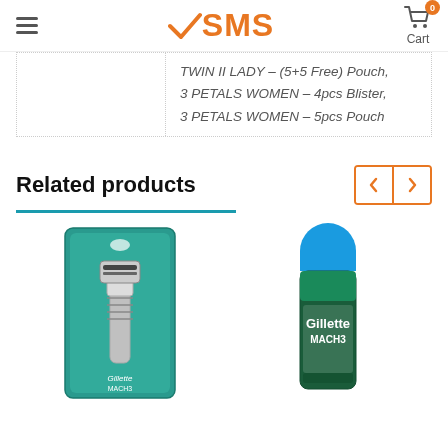SMS - Cart 0
TWIN II LADY – (5+5 Free) Pouch, 3 PETALS WOMEN – 4pcs Blister, 3 PETALS WOMEN – 5pcs Pouch
Related products
[Figure (photo): Gillette Mach3 razor in blister packaging]
[Figure (photo): Gillette Mach3 shaving gel bottle]